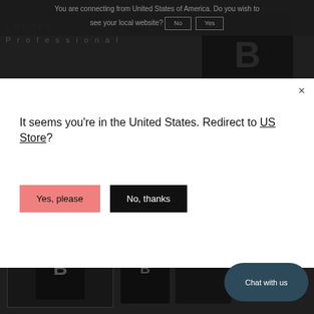You are connecting from United States of America. Do you wish to see your local website?
No  Yes
Lashes Professional
[Figure (photo): Background: dark-themed website with product images of black boxes with B logo]
×
It seems you're in the United States. Redirect to US Store?
Yes, please
No, thanks
Chat with us